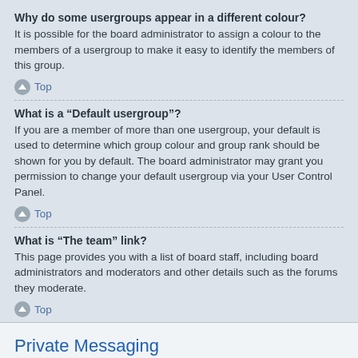Why do some usergroups appear in a different colour?
It is possible for the board administrator to assign a colour to the members of a usergroup to make it easy to identify the members of this group.
Top
What is a “Default usergroup”?
If you are a member of more than one usergroup, your default is used to determine which group colour and group rank should be shown for you by default. The board administrator may grant you permission to change your default usergroup via your User Control Panel.
Top
What is “The team” link?
This page provides you with a list of board staff, including board administrators and moderators and other details such as the forums they moderate.
Top
Private Messaging
I cannot send private messages!
There are three reasons for this; you are not registered and/or not logged on, the board administrator has disabled private messaging for the entire board, or the board administrator has prevented you from sending messages. Contact a